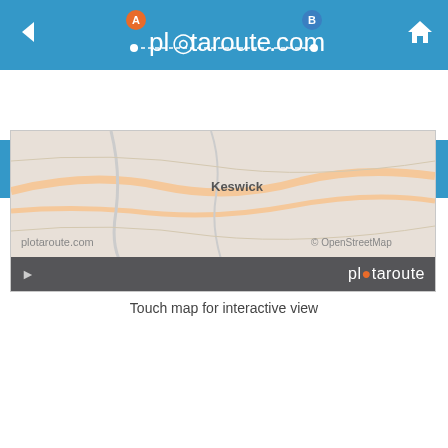[Figure (screenshot): plotaroute.com website header with logo showing 'plotaroute.com' text with route markers A and B, back arrow on left, home icon on right, all on blue background]
[Figure (screenshot): Search bar with hamburger menu icon on left, search input field reading 'Search: route, person or place' with X and magnifier icons, login icon on right, on blue background]
[Figure (map): Map thumbnail showing Keswick area from OpenStreetMap, with plotaroute.com watermark and dark bottom bar with play button and plotaroute branding]
Touch map for interactive view